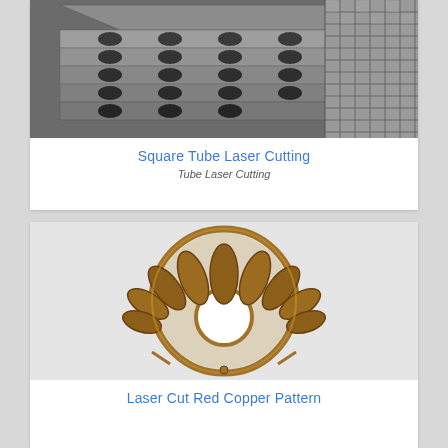[Figure (photo): Photo of square steel tubes with oval holes laser-cut along their length, stacked in rows, with a grid of square mesh visible on the right side.]
Square Tube Laser Cutting
Tube Laser Cutting
[Figure (photo): Circular decorative laser-cut red copper pattern featuring petal/leaf-shaped cutouts arranged in a fan/flower pattern radiating from a central circular hole, with a golden-brown oxidized copper finish.]
Laser Cut Red Copper Pattern